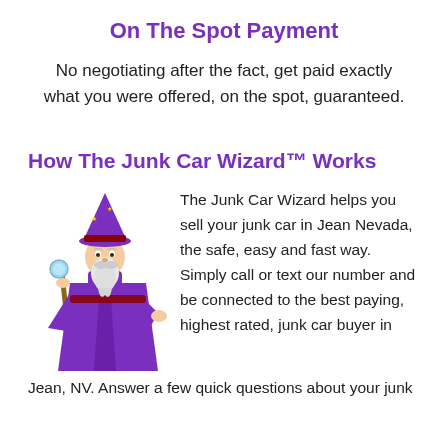On The Spot Payment
No negotiating after the fact, get paid exactly what you were offered, on the spot, guaranteed.
How The Junk Car Wizard™ Works
[Figure (illustration): Cartoon wizard in purple robe and hat, holding a staff with a glowing blue orb]
The Junk Car Wizard helps you sell your junk car in Jean Nevada, the safe, easy and fast way. Simply call or text our number and be connected to the best paying, highest rated, junk car buyer in Jean, NV. Answer a few quick questions about your junk